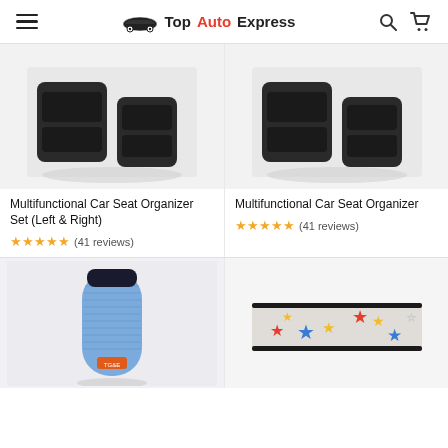Top Auto Express
[Figure (photo): Multifunctional Car Seat Organizer Set (Left & Right) - black plastic car seat organizer]
[Figure (photo): Multifunctional Car Seat Organizer - black plastic car seat organizer]
Multifunctional Car Seat Organizer Set (Left & Right)
★★★★★ (41 reviews)
Multifunctional Car Seat Organizer
★★★★★ (41 reviews)
[Figure (photo): Blue portable Bluetooth speaker (TG&E brand)]
[Figure (photo): Car seat strap/belt with colorful stars pattern (red, blue, gold stars on white/grey background)]